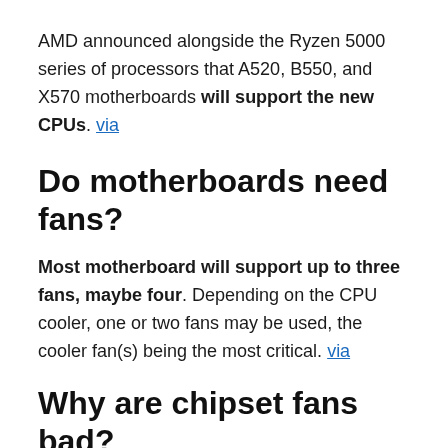AMD announced alongside the Ryzen 5000 series of processors that A520, B550, and X570 motherboards will support the new CPUs. via
Do motherboards need fans?
Most motherboard will support up to three fans, maybe four. Depending on the CPU cooler, one or two fans may be used, the cooler fan(s) being the most critical. via
Why are chipset fans bad?
Those tiny, whiny fans can make for a horrible